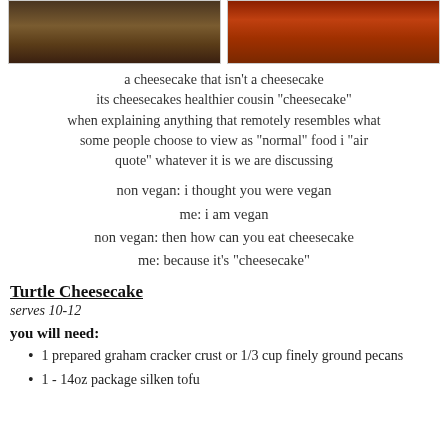[Figure (photo): Two photos side by side: left photo shows a wicker basket in brown/warm tones, right photo shows a decorative item with red/orange autumn tones]
a cheesecake that isn't a cheesecake
its cheesecakes healthier cousin "cheesecake"
when explaining anything that remotely resembles what some people choose to view as "normal" food i "air quote" whatever it is we are discussing
non vegan: i thought you were vegan
me: i am vegan
non vegan: then how can you eat cheesecake
me: because it's "cheesecake"
Turtle Cheesecake
serves 10-12
you will need:
1 prepared graham cracker crust or 1/3 cup finely ground pecans
1 - 14oz package silken tofu